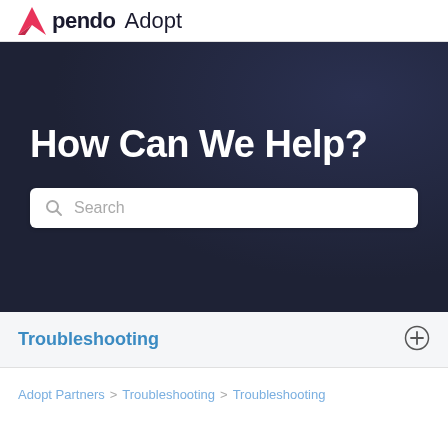pendo Adopt
How Can We Help?
[Figure (other): Search bar with placeholder text 'Search' on dark hero background]
Troubleshooting
Adopt Partners > Troubleshooting > Troubleshooting